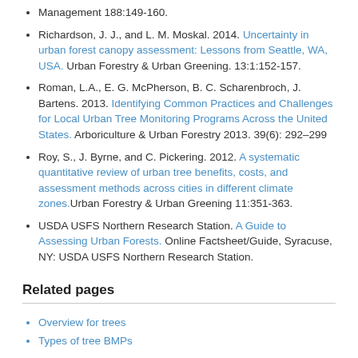Management 188:149-160.
Richardson, J. J., and L. M. Moskal. 2014. Uncertainty in urban forest canopy assessment: Lessons from Seattle, WA, USA. Urban Forestry & Urban Greening. 13:1:152-157.
Roman, L.A., E. G. McPherson, B. C. Scharenbroch, J. Bartens. 2013. Identifying Common Practices and Challenges for Local Urban Tree Monitoring Programs Across the United States. Arboriculture & Urban Forestry 2013. 39(6): 292–299
Roy, S., J. Byrne, and C. Pickering. 2012. A systematic quantitative review of urban tree benefits, costs, and assessment methods across cities in different climate zones. Urban Forestry & Urban Greening 11:351-363.
USDA USFS Northern Research Station. A Guide to Assessing Urban Forests. Online Factsheet/Guide, Syracuse, NY: USDA USFS Northern Research Station.
Related pages
Overview for trees
Types of tree BMPs